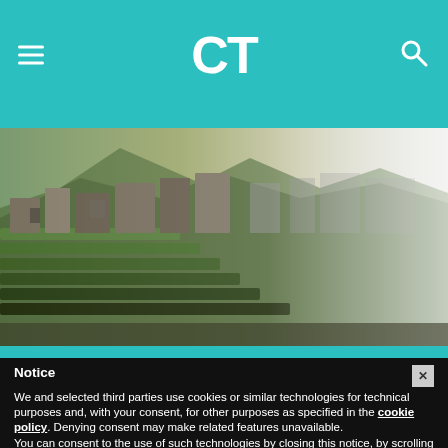CT
[Figure (photo): Aerial/wide view of Machu Picchu ruins with terraces, stone structures, lush greenery on the left fading to mist on the right]
Notice
We and selected third parties use cookies or similar technologies for technical purposes and, with your consent, for other purposes as specified in the cookie policy. Denying consent may make related features unavailable.
You can consent to the use of such technologies by closing this notice, by scrolling this page, by interacting with any link or button outside of this notice or by continuing to browse otherwise.